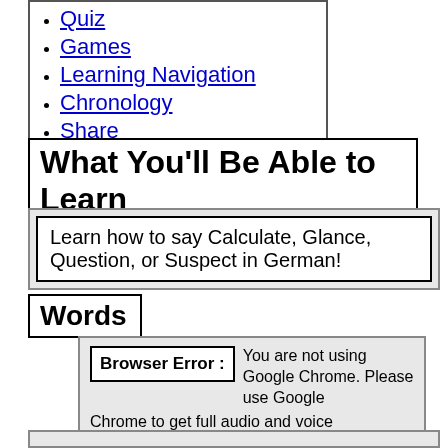Quiz
Games
Learning Navigation
Chronology
Share
Comments
What You'll Be Able to Learn
Learn how to say Calculate, Glance, Question, or Suspect in German!
Words
Browser Error : You are not using Google Chrome. Please use Google Chrome to get full audio and voice functionality of Earthfluent.com.